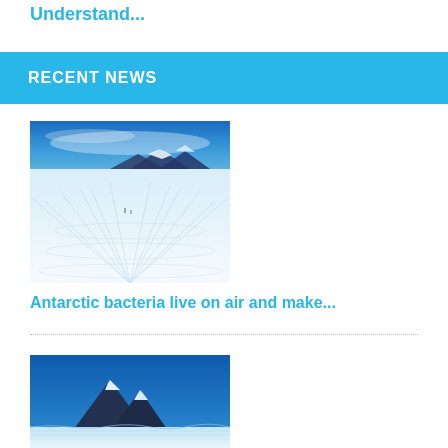Understand...
RECENT NEWS
[Figure (photo): Antarctic ice field with snow patterns in foreground, mountains in background, blue sky]
Antarctic bacteria live on air and make...
[Figure (photo): Antarctic mountain with snow and ice formations in foreground, deep blue sky]